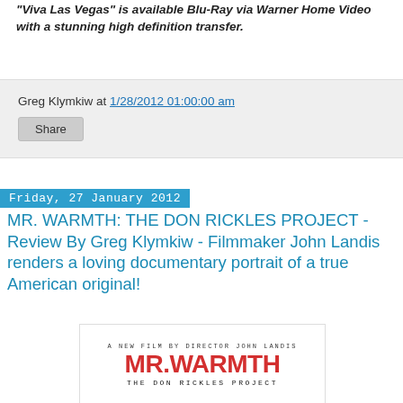"Viva Las Vegas" is available Blu-Ray via Warner Home Video with a stunning high definition transfer.
Greg Klymkiw at 1/28/2012 01:00:00 am
Share
Friday, 27 January 2012
MR. WARMTH: THE DON RICKLES PROJECT - Review By Greg Klymkiw - Filmmaker John Landis renders a loving documentary portrait of a true American original!
[Figure (photo): Movie poster for Mr. Warmth: The Don Rickles Project - A New Film by Director John Landis]